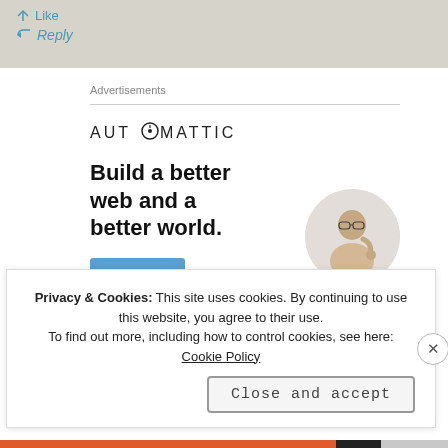Like
Reply
Advertisements
[Figure (logo): Automattic company logo with stylized compass 'O' in the name]
Build a better web and a better world.
[Figure (photo): Circular cropped photo of a man thinking, wearing a beige shirt, with glasses]
Apply
Privacy & Cookies: This site uses cookies. By continuing to use this website, you agree to their use.
To find out more, including how to control cookies, see here: Cookie Policy
Close and accept